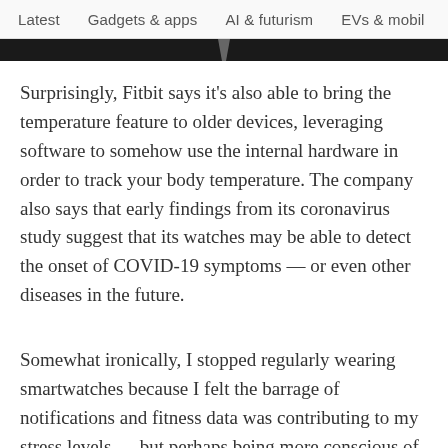Latest   Gadgets & apps   AI & futurism   EVs & mobil  >
Surprisingly, Fitbit says it's also able to bring the temperature feature to older devices, leveraging software to somehow use the internal hardware in order to track your body temperature. The company also says that early findings from its coronavirus study suggest that its watches may be able to detect the onset of COVID-19 symptoms — or even other diseases in the future.
Somewhat ironically, I stopped regularly wearing smartwatches because I felt the barrage of notifications and fitness data was contributing to my stress levels — but perhaps being more conscious of my stressors could help me be more aware of when I